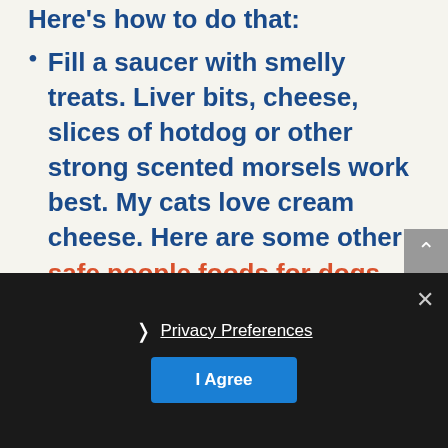Here's how to do that:
Fill a saucer with smelly treats. Liver bits, cheese, slices of hotdog or other strong scented morsels work best. My cats love cream cheese. Here are some other safe people foods for dogs. This isn't about filling his tummy, so the tidbits shouldn't be bigger than the tip of your little finger. You want the pup to appreciate the smell and taste and want more.
Get comfortable on the floor with the dish within reach but so the pup can't access. Cut a treat ready in one hand with a clicker in the other.
CLICK the clicker and when the pet's
Privacy Preferences | I Agree